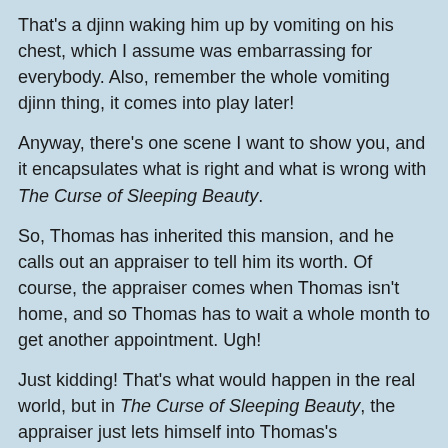That's a djinn waking him up by vomiting on his chest, which I assume was embarrassing for everybody. Also, remember the whole vomiting djinn thing, it comes into play later!
Anyway, there's one scene I want to show you, and it encapsulates what is right and what is wrong with The Curse of Sleeping Beauty.
So, Thomas has inherited this mansion, and he calls out an appraiser to tell him its worth. Of course, the appraiser comes when Thomas isn't home, and so Thomas has to wait a whole month to get another appointment. Ugh!
Just kidding! That's what would happen in the real world, but in The Curse of Sleeping Beauty, the appraiser just lets himself into Thomas's unbelievably creepy mansion:
[Figure (photo): A dark, dimly lit interior scene of a creepy mansion, showing a figure silhouetted against a bright window, with cluttered and shadowy surroundings.]